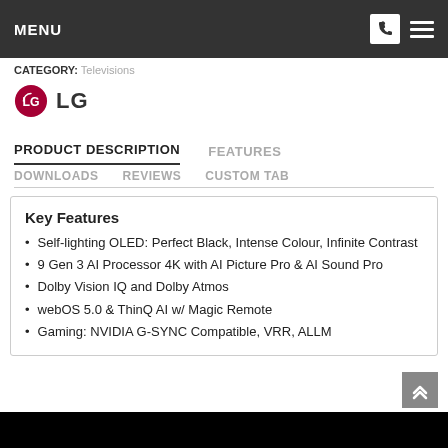MENU
CATEGORY: Televisions
[Figure (logo): LG brand logo — red circle with LG symbol and 'LG' text in bold]
PRODUCT DESCRIPTION | FEATURES | DOWNLOADS | REVIEWS | CUSTOM TAB
Key Features
Self-lighting OLED: Perfect Black, Intense Colour, Infinite Contrast
9 Gen 3 AI Processor 4K with AI Picture Pro & AI Sound Pro
Dolby Vision IQ and Dolby Atmos
webOS 5.0 & ThinQ AI w/ Magic Remote
Gaming: NVIDIA G-SYNC Compatible, VRR, ALLM